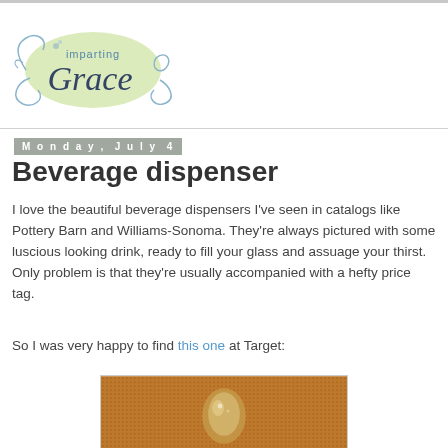[Figure (logo): Imparting Grace blog logo with decorative swirls and light green oval background]
Monday, July 4
Beverage dispenser
I love the beautiful beverage dispensers I've seen in catalogs like Pottery Barn and Williams-Sonoma. They're always pictured with some luscious looking drink, ready to fill your glass and assuage your thirst. Only problem is that they're usually accompanied with a hefty price tag.
So I was very happy to find this one at Target:
[Figure (photo): Close-up photo of a beverage dispenser spout on a textured brown/orange background]